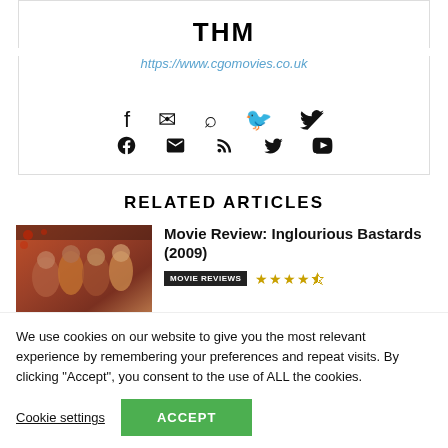THM
https://www.cgomovies.co.uk
[Figure (other): Social media icons: Facebook, Email/Envelope, RSS feed, Twitter, YouTube]
RELATED ARTICLES
[Figure (photo): Movie promotional image for Inglourious Bastards (2009) showing cast members]
Movie Review: Inglourious Bastards (2009)
MOVIE REVIEWS  ★★★★½
We use cookies on our website to give you the most relevant experience by remembering your preferences and repeat visits. By clicking "Accept", you consent to the use of ALL the cookies.
Cookie settings    ACCEPT